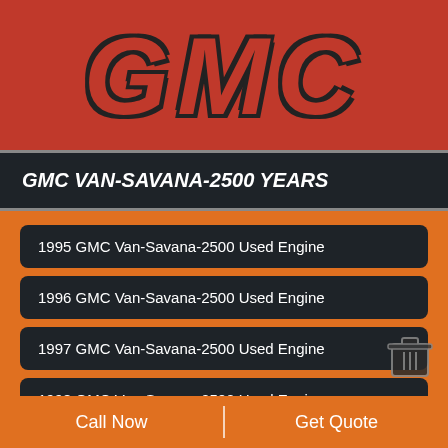[Figure (logo): GMC logo in bold red italic text on red background]
GMC VAN-SAVANA-2500 YEARS
1995 GMC Van-Savana-2500 Used Engine
1996 GMC Van-Savana-2500 Used Engine
1997 GMC Van-Savana-2500 Used Engine
1998 GMC Van-Savana-2500 Used Engine
1999 GMC Van-Savana-2500 Used Engine
2000 GMC Van-Savana-2500 Used Engine
2001 GMC Van-Savana-2500 Used Engine
Call Now | Get Quote